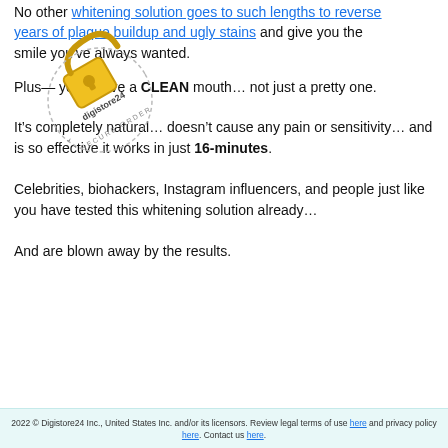No other whitening solution goes to such lengths to reverse years of plaque buildup and ugly stains and give you the smile you've always wanted.
[Figure (logo): Digistore24 secure order watermark/stamp in yellow and grey with padlock icon, rotated diagonally]
Plus— you’ll have a CLEAN mouth… not just a pretty one.
It’s completely natural… doesn’t cause any pain or sensitivity… and is so effective it works in just 16-minutes.
Celebrities, biohackers, Instagram influencers, and people just like you have tested this whitening solution already…
And are blown away by the results.
2022 © Digistore24 Inc., United States Inc. and/or its licensors. Review legal terms of use here and privacy policy here. Contact us here.